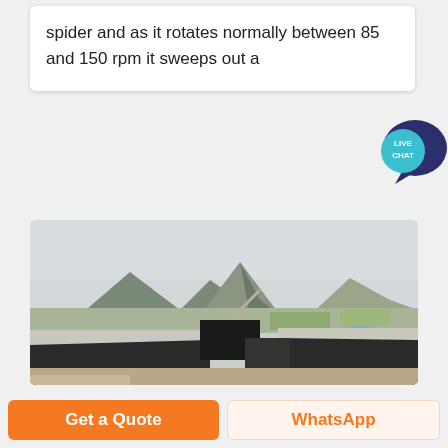spider and as it rotates normally between 85 and 150 rpm it sweeps out a
[Figure (photo): Aerial view of an industrial mining or quarrying facility with large warehouse-style buildings with white/grey roofs in the foreground, surrounded by rocky terrain, fields, and mountains in the background under a hazy sky.]
Get a Quote
WhatsApp